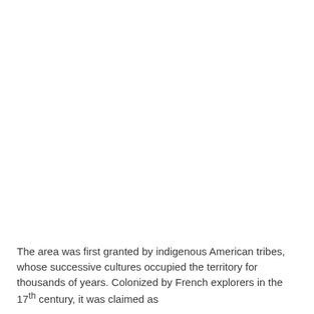The area was first granted by indigenous American tribes, whose successive cultures occupied the territory for thousands of years. Colonized by French explorers in the 17th century, it was claimed as